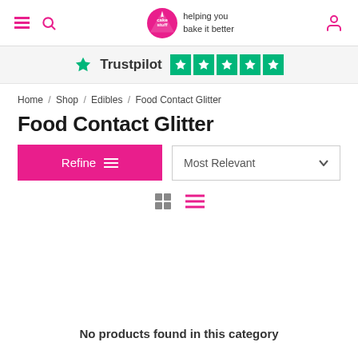cake stuff — helping you bake it better
[Figure (logo): Trustpilot logo with 5 green stars rating]
Home / Shop / Edibles / Food Contact Glitter
Food Contact Glitter
Refine  Most Relevant
No products found in this category